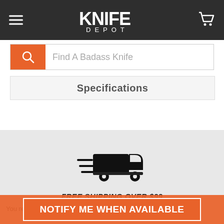Knife Depot
Find A Badass Knife
Specifications
Reasons to Shop Knife Depot
[Figure (illustration): Fast delivery truck icon with speed lines]
FREE SHIPPING OVER $99
You read th... 9. Our products off... u'll get
NOTIFY ME WHEN AVAILABLE